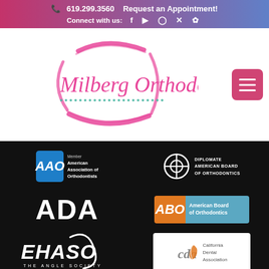619.299.3560  Request an Appointment!  Connect with us: [social icons]
[Figure (logo): Milberg Orthodontics logo with pink circular brush strokes and dot pattern]
[Figure (logo): AAO Member American Association of Orthodontists logo]
[Figure (logo): Diplomate American Board of Orthodontics logo]
[Figure (logo): ADA logo in white]
[Figure (logo): ABO American Board of Orthodontics logo with orange and teal colors]
[Figure (logo): EHASO The Angle Society logo in white italic]
[Figure (logo): CDA California Dental Association logo on white background]